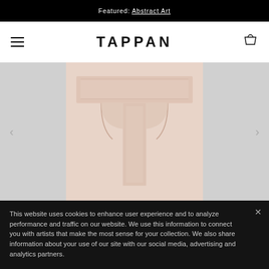Featured: Abstract Art
TAPPAN
[Figure (photo): Gallery-style webpage showing a blush/pink abstract sculptural artwork in a carousel slider with left/right navigation arrows, flanked by grey side panels]
This website uses cookies to enhance user experience and to analyze performance and traffic on our website. We use this information to connect you with artists that make the most sense for your collection. We also share information about your use of our site with our social media, advertising and analytics partners.